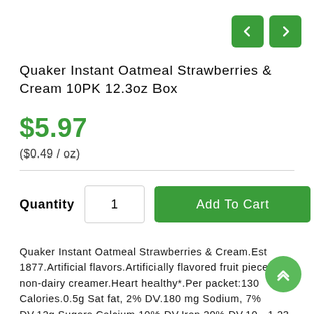[Figure (other): Navigation arrow buttons (left and right) in green rounded rectangles, top right corner]
Quaker Instant Oatmeal Strawberries & Cream 10PK 12.3oz Box
$5.97
($0.49 / oz)
Quantity  1  Add To Cart
Quaker Instant Oatmeal Strawberries & Cream.Est 1877.Artificial flavors.Artificially flavored fruit pieces & non-dairy creamer.Heart healthy*.Per packet:130 Calories.0.5g Sat fat, 2% DV.180 mg Sodium, 7% DV.12g Sugars.Calcium 10% DV.Iron 20% DV.10 - 1.23 oz (35 g)